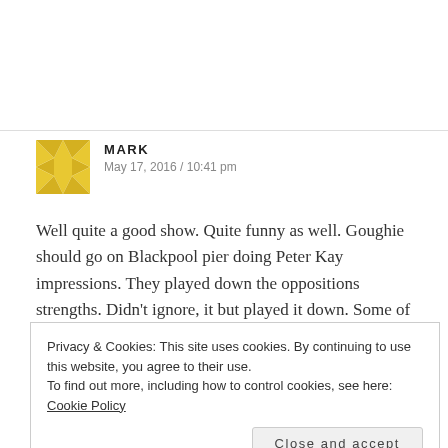[Figure (illustration): Yellow geometric quilt-pattern avatar icon for user Mark]
MARK
May 17, 2016 / 10:41 pm
Well quite a good show. Quite funny as well. Goughie should go on Blackpool pier doing Peter Kay impressions. They played down the oppositions strengths. Didn’t ignore, it but played it down. Some of the selections were crazy in those
Privacy & Cookies: This site uses cookies. By continuing to use this website, you agree to their use.
To find out more, including how to control cookies, see here: Cookie Policy
Close and accept
wouldn’t run that story today.